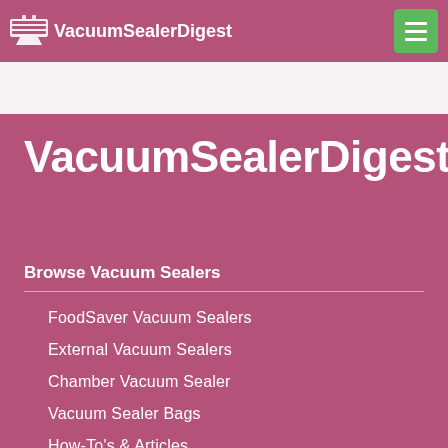VacuumSealerDigest
VacuumSealerDigest
Browse Vacuum Sealers
FoodSaver Vacuum Sealers
External Vacuum Sealers
Chamber Vacuum Sealer
Vacuum Sealer Bags
How-To's & Articles